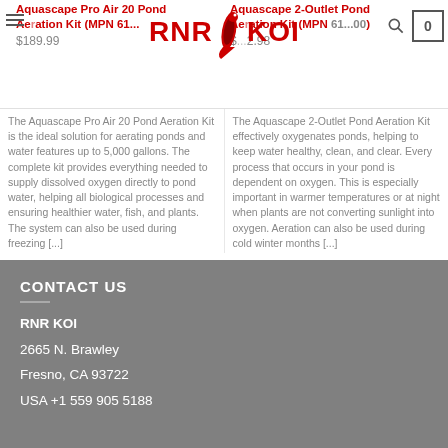RNR KOI
Aquascape Pro Air 20 Pond Aeration Kit (MPN 61...
$189.99
The Aquascape Pro Air 20 Pond Aeration Kit is the ideal solution for aerating ponds and water features up to 5,000 gallons. The complete kit provides everything needed to supply dissolved oxygen directly to pond water, helping all biological processes and ensuring healthier water, fish, and plants. The system can also be used during freezing [...]
Aquascape 2-Outlet Pond Aeration Kit (MPN 61...00)
$...2.98
The Aquascape 2-Outlet Pond Aeration Kit effectively oxygenates ponds, helping to keep water healthy, clean, and clear. Every process that occurs in your pond is dependent on oxygen. This is especially important in warmer temperatures or at night when plants are not converting sunlight into oxygen. Aeration can also be used during cold winter months [...]
CONTACT US
RNR KOI
2665 N. Brawley
Fresno, CA 93722
USA +1 559 905 5188